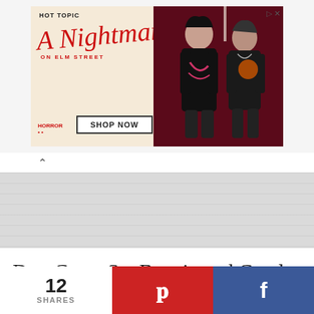[Figure (screenshot): Hot Topic advertisement banner for 'A Nightmare on Elm Street' merchandise featuring two people in dark clothing against a red curtain background, with 'SHOP NOW' button]
Duo Cross Set Beanie and Cowl Crochet Pattern
12 SHARES
[Figure (other): Pinterest share button (red background with white P logo)]
[Figure (other): Facebook share button (blue background with white f logo)]